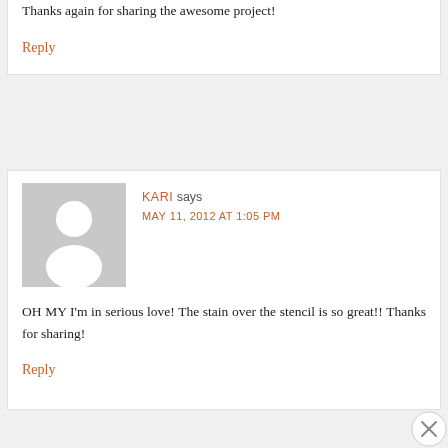Thanks again for sharing the awesome project!
Reply
[Figure (illustration): Default user avatar — grey background square with white silhouette of a person (head circle and shoulders)]
KARI says
MAY 11, 2012 AT 1:05 PM
OH MY I'm in serious love! The stain over the stencil is so great!! Thanks for sharing!
Reply